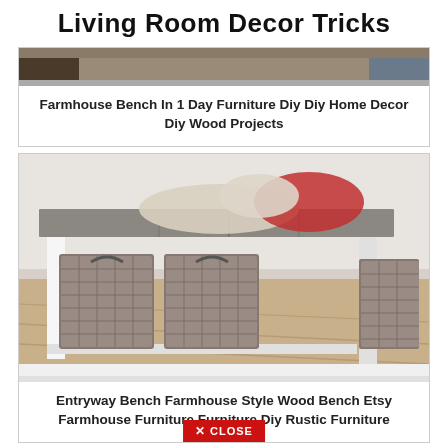Living Room Decor Tricks
[Figure (photo): Partial view of a farmhouse bench or furniture piece at the top of a card]
Farmhouse Bench In 1 Day Furniture Diy Diy Home Decor Diy Wood Projects
[Figure (photo): Entryway farmhouse style wood bench with wicker baskets underneath, white frame, grey wooden top, pillows and blanket on top, on hardwood floor]
Entryway Bench Farmhouse Style Wood Bench Etsy Farmhouse Furniture Furniture Diy Rustic Furniture
✕ CLOSE